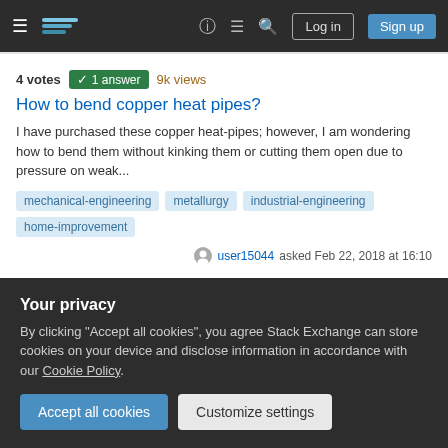Stack Exchange navigation bar with hamburger menu, logo, help, chat, search, Log in, Sign up buttons
4 votes  1 answer  9k views
How to bend copper heat pipes?
I have purchased these copper heat-pipes; however, I am wondering how to bend them without kinking them or cutting them open due to pressure on weak...
mechanical-engineering
metallurgy
industrial-engineering
home-improvement
user15044 asked Feb 22, 2018 at 16:10
0 votes  1 answer  28 views
is it possible to cook with low power PV systems (under 300...
Your privacy
By clicking "Accept all cookies", you agree Stack Exchange can store cookies on your device and disclose information in accordance with our Cookie Policy.
Accept all cookies
Customize settings